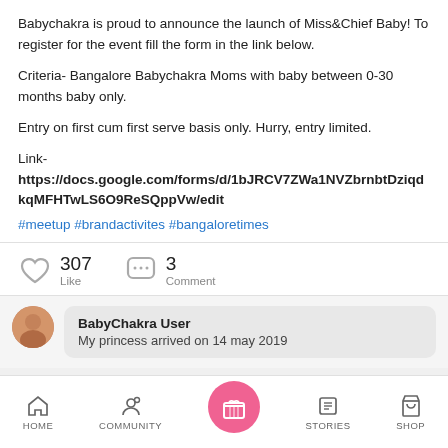Babychakra is proud to announce the launch of Miss&Chief Baby! To register for the event fill the form in the link below.

Criteria- Bangalore Babychakra Moms with baby between 0-30 months baby only.

Entry on first cum first serve basis only. Hurry, entry limited.

Link-
https://docs.google.com/forms/d/1bJRCV7ZWa1NVZbrnbtDziqdkqMFHTwLS6O9ReSQppVw/edit
#meetup #brandactivites #bangaloretimes
307 Like   3 Comment
BabyChakra User
My princess arrived on 14 may 2019
HOME  COMMUNITY  [gift]  STORIES  SHOP